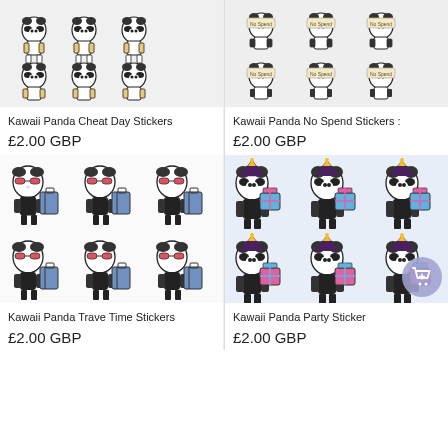[Figure (photo): Kawaii panda stickers sheet - Cheat Day theme, black and white pandas holding items, top left product image]
[Figure (photo): Kawaii panda stickers sheet - No Spend theme, pandas with 'No Spend' tags, top right product image]
Kawaii Panda Cheat Day Stickers
Kawaii Panda No Spend Stickers :
£2.00 GBP
£2.00 GBP
[Figure (photo): Kawaii panda stickers sheet - Travel Time theme, pandas wearing sunglasses carrying luggage, bottom left product image]
[Figure (photo): Kawaii panda stickers sheet - Party theme, pandas wearing party hats holding presents, bottom right product image]
Kawaii Panda Trave Time Stickers
Kawaii Panda Party Sticker
£2.00 GBP
£2.00 GBP